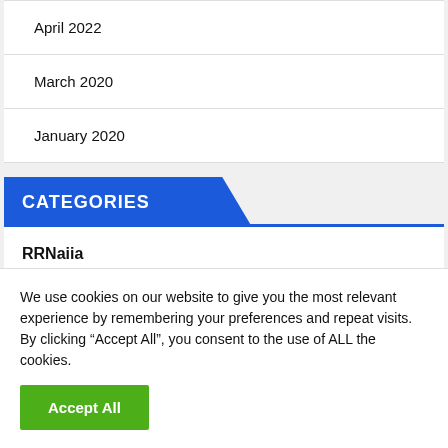April 2022
March 2020
January 2020
CATEGORIES
RRNaiia
We use cookies on our website to give you the most relevant experience by remembering your preferences and repeat visits. By clicking “Accept All”, you consent to the use of ALL the cookies.
Accept All